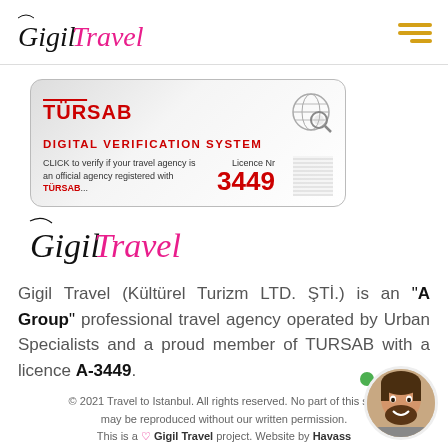GigilTravel (logo) + hamburger menu
[Figure (logo): TURSAB Digital Verification System badge with licence number 3449]
[Figure (logo): GigilTravel brand logo in script font]
Gigil Travel (Kültürel Turizm LTD. ŞTİ.) is an "A Group" professional travel agency operated by Urban Specialists and a proud member of TURSAB with a licence A-3449.
© 2021 Travel to Istanbul. All rights reserved. No part of this site may be reproduced without our written permission. This is a ♡ Gigil Travel project. Website by Havass